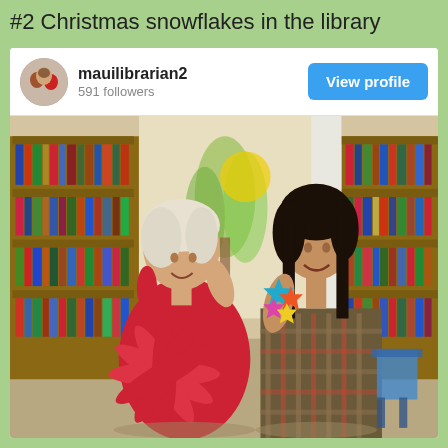#2 Christmas snowflakes in the library
[Figure (photo): Social media post card showing username 'mauilibrarian2' with 591 followers and a 'View profile' button. Below is a photo of two women standing in a library holding paper snowflakes. The woman on the left wears red and holds a large red paper snowflake. The woman on the right wears a plaid shirt and holds smaller colorful paper snowflakes. Library bookshelves are visible in the background.]